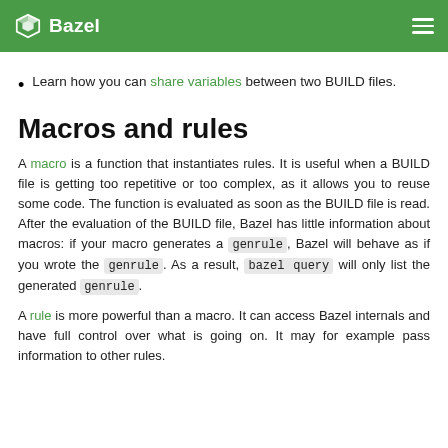Bazel
Learn how you can share variables between two BUILD files.
Macros and rules
A macro is a function that instantiates rules. It is useful when a BUILD file is getting too repetitive or too complex, as it allows you to reuse some code. The function is evaluated as soon as the BUILD file is read. After the evaluation of the BUILD file, Bazel has little information about macros: if your macro generates a genrule, Bazel will behave as if you wrote the genrule. As a result, bazel query will only list the generated genrule.
A rule is more powerful than a macro. It can access Bazel internals and have full control over what is going on. It may for example pass information to other rules.